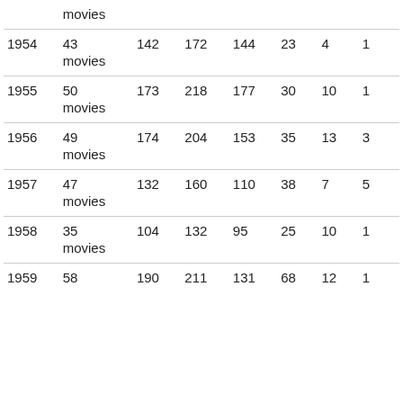|  | movies |  |  |  |  |  |  |
| 1954 | 43
movies | 142 | 172 | 144 | 23 | 4 | 1 |
| 1955 | 50
movies | 173 | 218 | 177 | 30 | 10 | 1 |
| 1956 | 49
movies | 174 | 204 | 153 | 35 | 13 | 3 |
| 1957 | 47
movies | 132 | 160 | 110 | 38 | 7 | 5 |
| 1958 | 35
movies | 104 | 132 | 95 | 25 | 10 | 1 |
| 1959 | 58 | 190 | 211 | 131 | 68 | 12 | 1 |